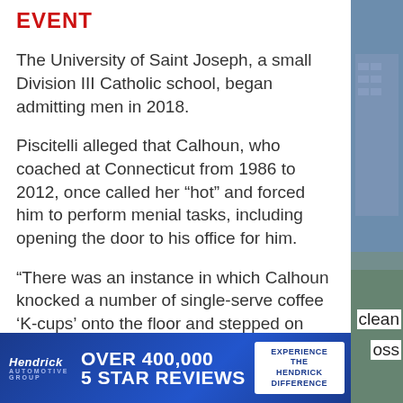EVENT
The University of Saint Joseph, a small Division III Catholic school, began admitting men in 2018.
Piscitelli alleged that Calhoun, who coached at Connecticut from 1986 to 2012, once called her “hot” and forced him to perform menial tasks, including opening the door to his office for him.
“There was an instance in which Calhoun knocked a number of single-serve coffee ‘K-cups’ onto the floor and stepped on them, creating a mess of coffee grounds and
[Figure (other): Hendrick automotive advertisement banner: 'OVER 400,000 5 STAR REVIEWS' with 'EXPERIENCE THE HENDRICK DIFFERENCE' button]
clean
oss